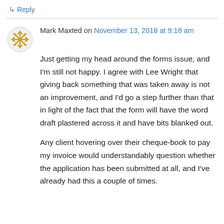↳ Reply
Mark Maxted on November 13, 2018 at 9:18 am
Just getting my head around the forms issue, and I'm still not happy. I agree with Lee Wright that giving back something that was taken away is not an improvement, and I'd go a step further than that in light of the fact that the form will have the word draft plastered across it and have bits blanked out.
Any client hovering over their cheque-book to pay my invoice would understandably question whether the application has been submitted at all, and I've already had this a couple of times.